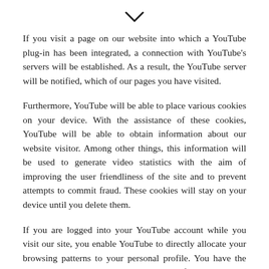[Figure (other): Downward chevron/arrow icon centered at top of page]
If you visit a page on our website into which a YouTube plug-in has been integrated, a connection with YouTube's servers will be established. As a result, the YouTube server will be notified, which of our pages you have visited.
Furthermore, YouTube will be able to place various cookies on your device. With the assistance of these cookies, YouTube will be able to obtain information about our website visitor. Among other things, this information will be used to generate video statistics with the aim of improving the user friendliness of the site and to prevent attempts to commit fraud. These cookies will stay on your device until you delete them.
If you are logged into your YouTube account while you visit our site, you enable YouTube to directly allocate your browsing patterns to your personal profile. You have the option to prevent this by logging out of your YouTube account.